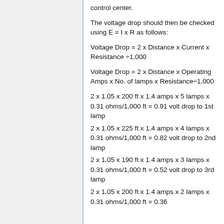control center.
The voltage drop should then be checked using E = I x R as follows:
2 x 1.05 x 200 ft x 1.4 amps x 5 lamps x 0.31 ohms/1,000 ft = 0.91 volt drop to 1st lamp
2 x 1.05 x 225 ft x 1.4 amps x 4 lamps x 0.31 ohms/1,000 ft = 0.82 volt drop to 2nd lamp
2 x 1.05 x 190 ft x 1.4 amps x 3 lamps x 0.31 ohms/1,000 ft = 0.52 volt drop to 3rd lamp
2 x 1.05 x 200 ft x 1.4 amps x 2 lamps x 0.31 ohms/1,000 ft = 0.36